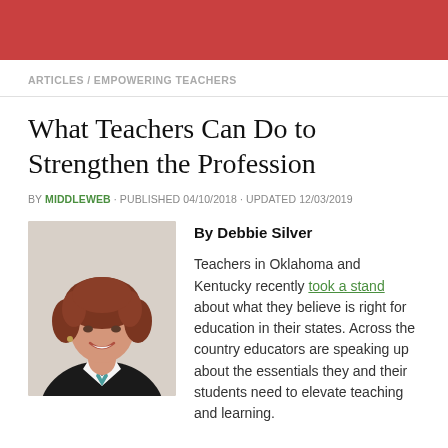ARTICLES / EMPOWERING TEACHERS
What Teachers Can Do to Strengthen the Profession
BY MIDDLEWEB · PUBLISHED 04/10/2018 · UPDATED 12/03/2019
[Figure (photo): Headshot of Debbie Silver, a woman with curly auburn hair, smiling, wearing a dark blazer with white collar and teal accent.]
By Debbie Silver

Teachers in Oklahoma and Kentucky recently took a stand about what they believe is right for education in their states. Across the country educators are speaking up about the essentials they and their students need to elevate teaching and learning.